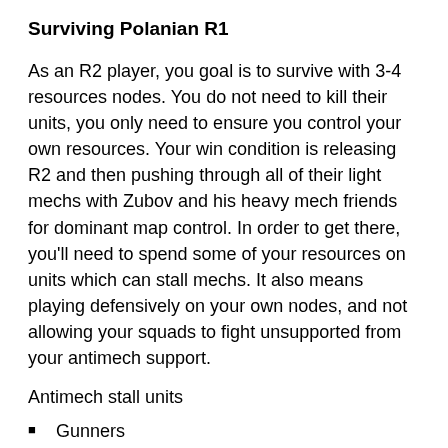Surviving Polanian R1
As an R2 player, you goal is to survive with 3-4 resources nodes. You do not need to kill their units, you only need to ensure you control your own resources. Your win condition is releasing R2 and then pushing through all of their light mechs with Zubov and his heavy mech friends for dominant map control. In order to get there, you'll need to spend some of your resources on units which can stall mechs. It also means playing defensively on your own nodes, and not allowing your squads to fight unsupported from your antimech support.
Antimech stall units
Gunners
Field Guns
HMG
Kolokol (mandatory against Michal)
Gunner squads are excellent choices for destroying light